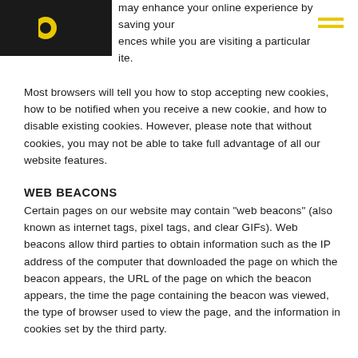[Figure (logo): Dark background logo with yellow circular icon (D shape with yellow circle)]
may enhance your online experience by saving your ences while you are visiting a particular ite.
Most browsers will tell you how to stop accepting new cookies, how to be notified when you receive a new cookie, and how to disable existing cookies. However, please note that without cookies, you may not be able to take full advantage of all our website features.
WEB BEACONS
Certain pages on our website may contain "web beacons" (also known as internet tags, pixel tags, and clear GIFs). Web beacons allow third parties to obtain information such as the IP address of the computer that downloaded the page on which the beacon appears, the URL of the page on which the beacon appears, the time the page containing the beacon was viewed, the type of browser used to view the page, and the information in cookies set by the third party.